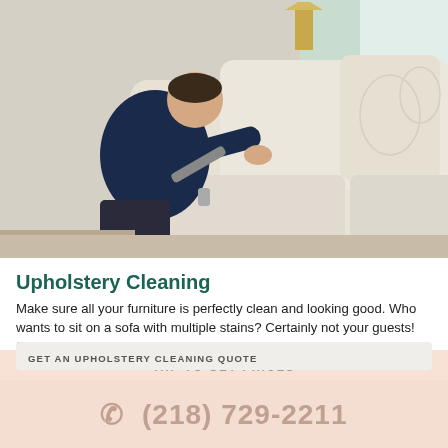[Figure (photo): A man in dark blue shirt and pants kneeling and using an upholstery cleaning machine on a light beige sofa, with blue hose visible, in a home setting.]
Upholstery Cleaning
Make sure all your furniture is perfectly clean and looking good. Who wants to sit on a sofa with multiple stains? Certainly not your guests! So call us in for upholstery cleaning today.
TAP TO GET PRICES
GET AN UPHOLSTERY CLEANING QUOTE
(218) 729-2211